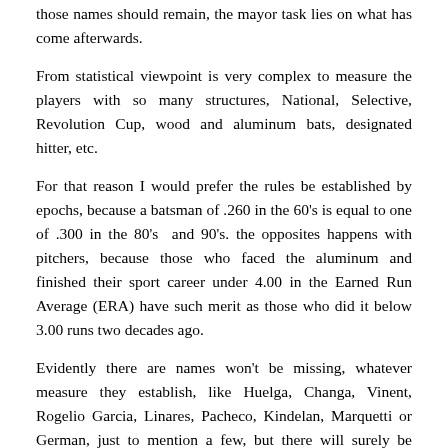those names should remain, the mayor task lies on what has come afterwards.
From statistical viewpoint is very complex to measure the players with so many structures, National, Selective, Revolution Cup, wood and aluminum bats, designated hitter, etc.
For that reason I would prefer the rules be established by epochs, because a batsman of .260 in the 60's is equal to one of .300 in the 80's  and 90's. the opposites happens with pitchers, because those who faced the aluminum and finished their sport career under 4.00 in the Earned Run Average (ERA) have such merit as those who did it below 3.00 runs two decades ago.
Evidently there are names won't be missing, whatever measure they establish, like Huelga, Changa, Vinent, Rogelio Garcia, Linares, Pacheco, Kindelan, Marquetti or German, just to mention a few, but there will surely be polemic with others.
It also appears to establish it as already has been done to...